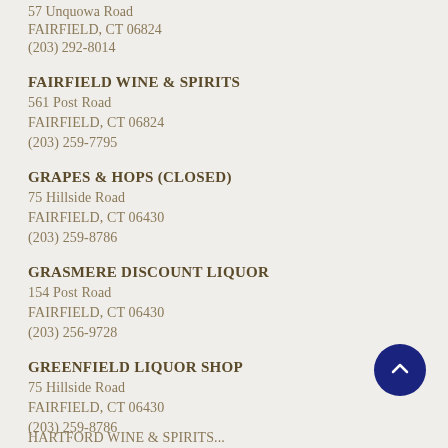57 Unquowa Road
FAIRFIELD, CT 06824
(203) 292-8014
FAIRFIELD WINE & SPIRITS
561 Post Road
FAIRFIELD, CT 06824
(203) 259-7795
GRAPES & HOPS (CLOSED)
75 Hillside Road
FAIRFIELD, CT 06430
(203) 259-8786
GRASMERE DISCOUNT LIQUOR
154 Post Road
FAIRFIELD, CT 06430
(203) 256-9728
GREENFIELD LIQUOR SHOP
75 Hillside Road
FAIRFIELD, CT 06430
(203) 259-8786
HARTFORD WINE & SPIRITS...